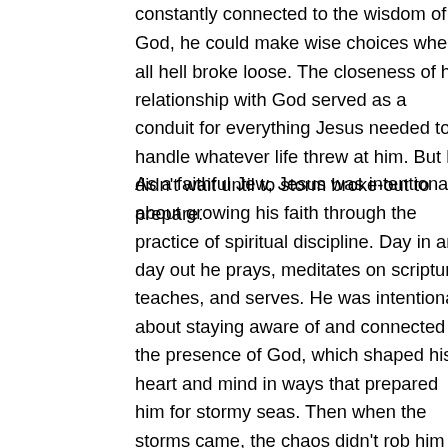constantly connected to the wisdom of God, he could make wise choices when all hell broke loose. The closeness of his relationship with God served as a conduit for everything Jesus needed to handle whatever life threw at him. But he didn't wait until to storm broke-out to prepare.
As a faithful Jew, Jesus was intentional about growing his faith through the practice of spiritual discipline. Day in and day out he prays, meditates on scripture, teaches, and serves. He was intentional about staying aware of and connected to the presence of God, which shaped his heart and mind in ways that prepared him for stormy seas. Then when the storms came, the chaos didn't rob him of his peace, but his peace brought calmness to the chaos. In this way, Jesus models a way of life that transforms us into his image. As we daily imitate the pattern that he sets forth, we gradually receive the wisdom, faith, courage, and peace required to handle difficulty like him. Our preparation for the storms of tomorrow happen today. We don't wait until the bridges are being closed. And when the